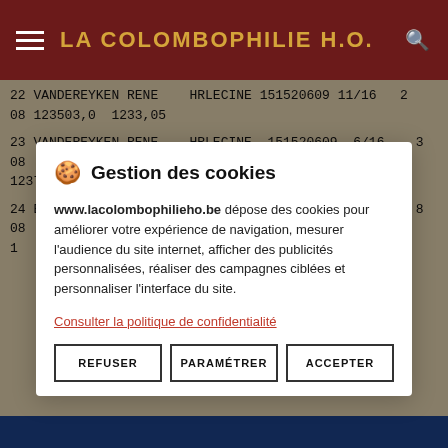LA COLOMBOPHILIE H.O.
22 VANDEREYKEN RENE   HRLECINE 151520609 11/16   2 08 123503,0  1233,05
23 VANDEREYKEN RENE   HRLECINE 151520609  6/16   3 08 123711,0  1219,71
24 BENAETS O/E        GOETSENHO 200135309 17/18   8 08
🍪 Gestion des cookies
www.lacolombophilieho.be dépose des cookies pour améliorer votre expérience de navigation, mesurer l'audience du site internet, afficher des publicités personnalisées, réaliser des campagnes ciblées et personnaliser l'interface du site.
Consulter la politique de confidentialité
REFUSER | PARAMÉTRER | ACCEPTER